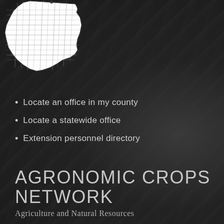[Figure (map): Outline map of Ohio showing county boundaries in white on dark background]
Locate an office in my county
Locate a statewide office
Extension personnel directory
AGRONOMIC CROPS NETWORK
Agriculture and Natural Resources